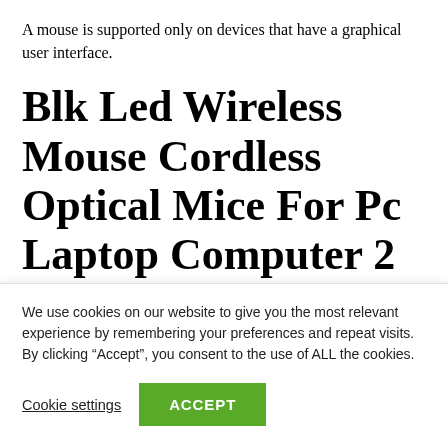A mouse is supported only on devices that have a graphical user interface.
Blk Led Wireless Mouse Cordless Optical Mice For Pc Laptop Computer 2 4ghz Games
No fi dl d t t th ti l
We use cookies on our website to give you the most relevant experience by remembering your preferences and repeat visits. By clicking “Accept”, you consent to the use of ALL the cookies.
Cookie settings | ACCEPT